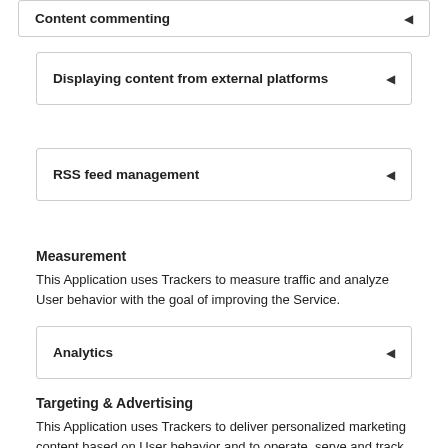Content commenting
Displaying content from external platforms
RSS feed management
Measurement
This Application uses Trackers to measure traffic and analyze User behavior with the goal of improving the Service.
Analytics
Targeting & Advertising
This Application uses Trackers to deliver personalized marketing content based on User behavior and to operate, serve and track ads.